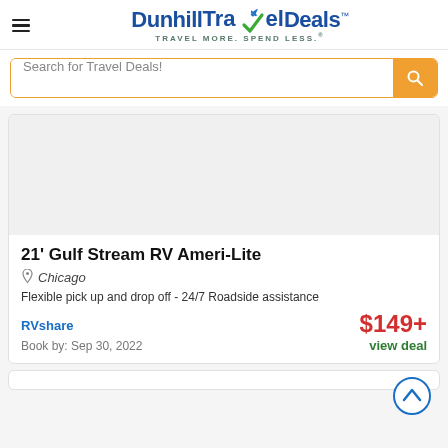[Figure (logo): DunhillTravelDeals logo with airplane and checkmark, tagline TRAVEL MORE. SPEND LESS.]
Search for Travel Deals!
[Figure (photo): RV / travel vehicle image placeholder]
21' Gulf Stream RV Ameri-Lite
Chicago
Flexible pick up and drop off - 24/7 Roadside assistance
RVshare
$149+
view deal
Book by: Sep 30, 2022